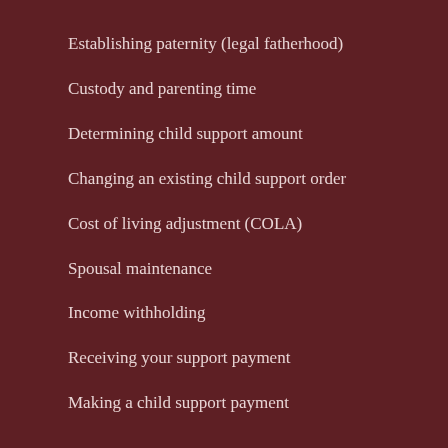Establishing paternity (legal fatherhood)
Custody and parenting time
Determining child support amount
Changing an existing child support order
Cost of living adjustment (COLA)
Spousal maintenance
Income withholding
Receiving your support payment
Making a child support payment